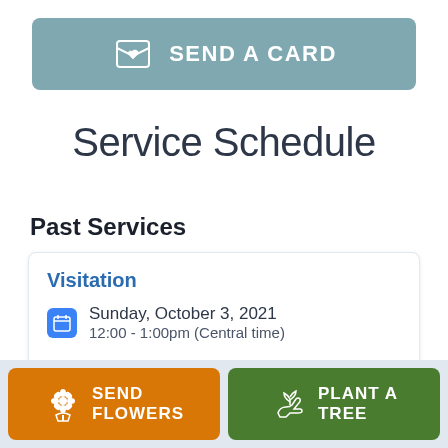[Figure (other): Send a Card button with card icon bearing a heart symbol, teal/steel blue background, white uppercase text]
Service Schedule
Past Services
Visitation
Sunday, October 3, 2021
12:00 - 1:00pm (Central time)
[Figure (other): Send Flowers button with flower bouquet icon, orange background, white uppercase text]
[Figure (other): Plant a Tree button with plant/hand icon, dark green background, white uppercase text]